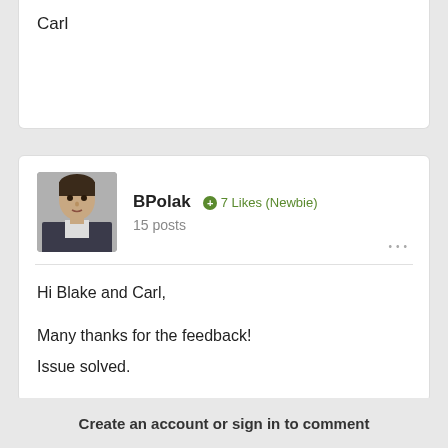Carl
BPolak  ⊕ 7 Likes (Newbie)
15 posts
[Figure (photo): User avatar photo of BPolak, a young man in a dark jacket]
Hi Blake and Carl,

Many thanks for the feedback!
Issue solved.
Create an account or sign in to comment